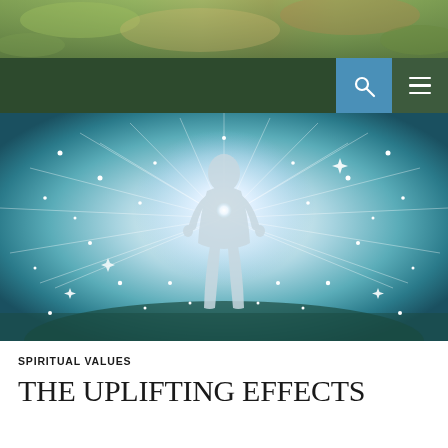[Figure (photo): Top banner image showing nature scene with green foliage and warm tones]
[Figure (screenshot): Dark green navigation bar with blue search button (magnifying glass icon) and dark green hamburger menu button on the right]
[Figure (photo): Hero image of a glowing human silhouette walking toward a bright white light, surrounded by sparkles and stars on a teal/blue gradient background]
SPIRITUAL VALUES
THE UPLIFTING EFFECTS